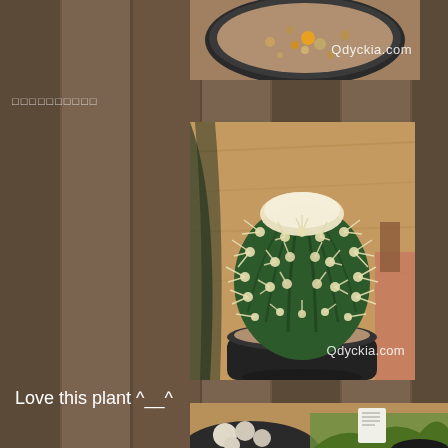[Figure (photo): Top portion of a potted cactus or succulent plant in a round pot, viewed from above, on a wooden surface. Watermark 'Qdyckia.com' visible.]
□□□□□□□□□□
[Figure (photo): A round barrel cactus with white/cream-colored spines densely covering the top, planted in a black pot on a wooden table. Other plants visible in the background. Watermark 'Qdyckia.com' in lower right.]
Love this plant ^__^
[Figure (photo): Bottom portion showing two potted plants on a wooden surface — one with stones/pebbles and one with small green spiky succulent, with a price/label tag visible.]